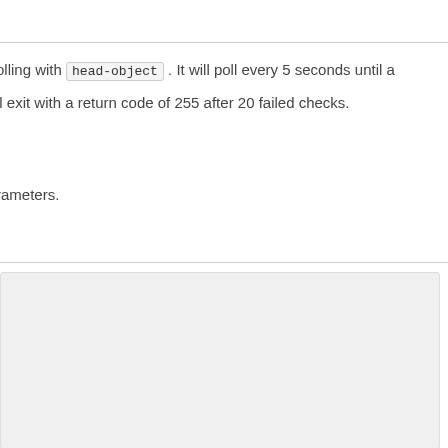olling with head-object . It will poll every 5 seconds until a ll exit with a return code of 255 after 20 failed checks.
rameters.
[Figure (screenshot): A light gray code/content box region]